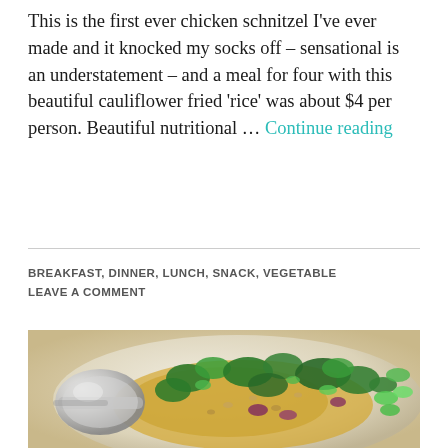This is the first ever chicken schnitzel I've ever made and it knocked my socks off – sensational is an understatement – and a meal for four with this beautiful cauliflower fried 'rice' was about $4 per person. Beautiful nutritional … Continue reading
BREAKFAST, DINNER, LUNCH, SNACK, VEGETABLE
LEAVE A COMMENT
[Figure (photo): A bowl of food featuring scrambled eggs with broccoli, pine nuts, red onion, and fresh herbs, with a large silver spoon on the left side of the bowl.]